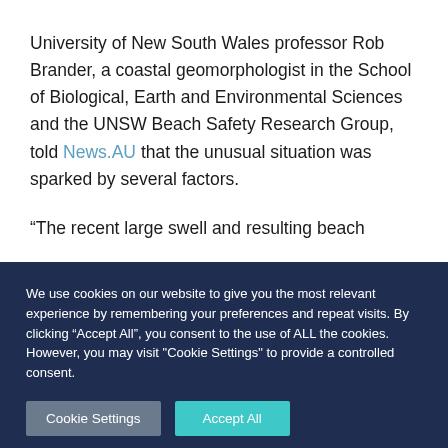University of New South Wales professor Rob Brander, a coastal geomorphologist in the School of Biological, Earth and Environmental Sciences and the UNSW Beach Safety Research Group, told News.AU that the unusual situation was sparked by several factors.
“The recent large swell and resulting beach
We use cookies on our website to give you the most relevant experience by remembering your preferences and repeat visits. By clicking “Accept All”, you consent to the use of ALL the cookies. However, you may visit "Cookie Settings" to provide a controlled consent.